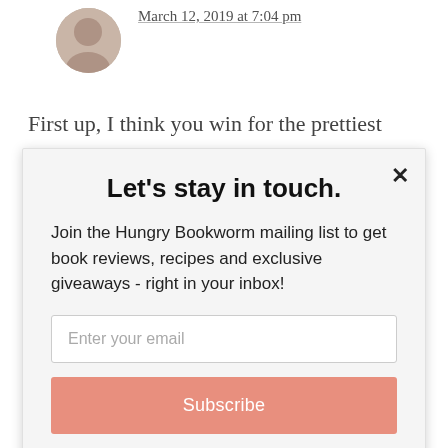March 12, 2019 at 7:04 pm
First up, I think you win for the prettiest covers in the link-up this month. Every one
Let's stay in touch.
Join the Hungry Bookworm mailing list to get book reviews, recipes and exclusive giveaways - right in your inbox!
Enter your email
Subscribe
powered by MailMunch